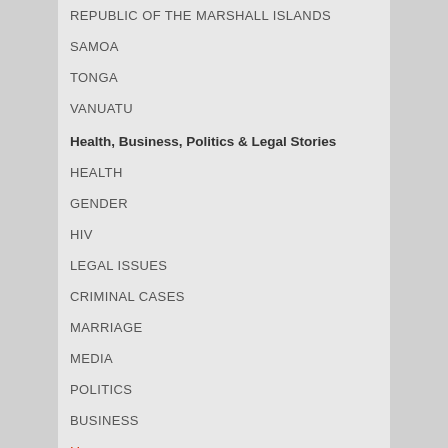REPUBLIC OF THE MARSHALL ISLANDS
SAMOA
TONGA
VANUATU
Health, Business, Politics & Legal Stories
HEALTH
GENDER
HIV
LEGAL ISSUES
CRIMINAL CASES
MARRIAGE
MEDIA
POLITICS
BUSINESS
Home
Archives
About
Report News
Privacy Policy
Contact
Travel